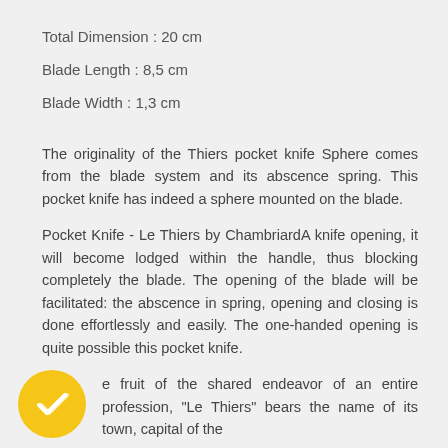Total Dimension : 20 cm
Blade Length : 8,5 cm
Blade Width : 1,3 cm
The originality of the Thiers pocket knife Sphere comes from the blade system and its abscence spring. This pocket knife has indeed a sphere mounted on the blade.
Pocket Knife - Le Thiers by ChambriardA knife opening, it will become lodged within the handle, thus blocking completely the blade. The opening of the blade will be facilitated: the abscence in spring, opening and closing is done effortlessly and easily. The one-handed opening is quite possible this pocket knife.
e fruit of the shared endeavor of an entire profession, "Le Thiers" bears the name of its town, capital of the